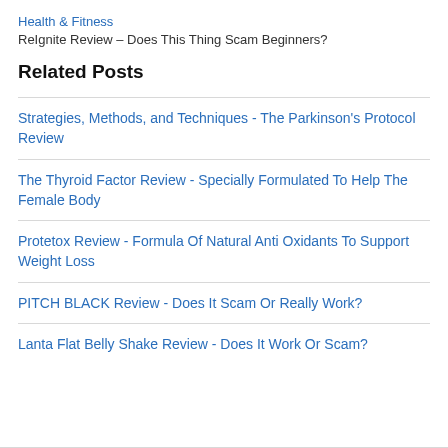Health & Fitness
ReIgnite Review – Does This Thing Scam Beginners?
Related Posts
Strategies, Methods, and Techniques - The Parkinson's Protocol Review
The Thyroid Factor Review - Specially Formulated To Help The Female Body
Protetox Review - Formula Of Natural Anti Oxidants To Support Weight Loss
PITCH BLACK Review - Does It Scam Or Really Work?
Lanta Flat Belly Shake Review - Does It Work Or Scam?